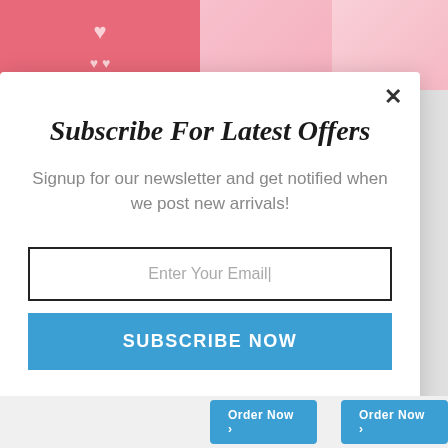[Figure (screenshot): Background showing pink clothing/fashion product images and pink panel with white hearts]
Subscribe For Latest Offers
Signup for our newsletter and get notified when we post new arrivals!
Enter Your Email|
SUBSCRIBE NOW